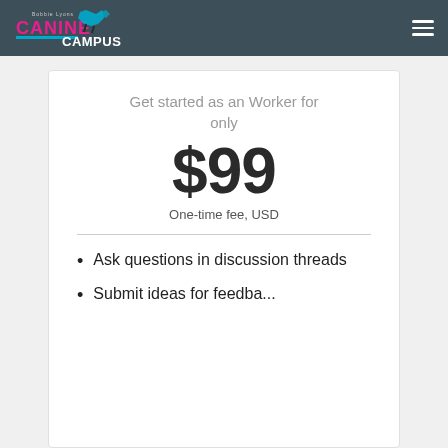Bobbie Lyons Canine Campus
Get started as an Worker for only
$99
One-time fee, USD
Ask questions in discussion threads
Submit ideas for feedback...